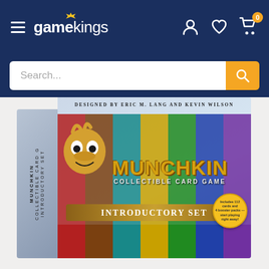gamekings — navigation header with hamburger menu, logo, user icon, wishlist icon, cart icon with badge 0
Search...
[Figure (photo): Product box photo of Munchkin Collectible Card Game Introductory Set. Box shows cartoon characters, designed by Eric M. Lang and Kevin Wilson. Box spine reads: MUNCHKIN COLLECTIBLE CARD GAME INTRODUCTORY SET. Front has MUNCHKIN COLLECTIBLE CARD GAME logo, INTRODUCTORY SET banner, colored stripes at bottom, and a circular starburst badge indicating 'Includes 112 cards and 4 booster packs'.]